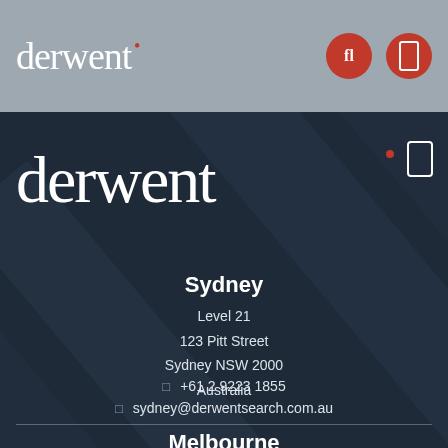derwent
[Figure (logo): Derwent logo large white text on dark diagonal-stripe background with red accent dot, with menu icon top right]
Sydney
Level 21
123 Pitt Street
Sydney NSW 2000
Australia
+61 2 9223 1855
sydney@derwentsearch.com.au
Melbourne